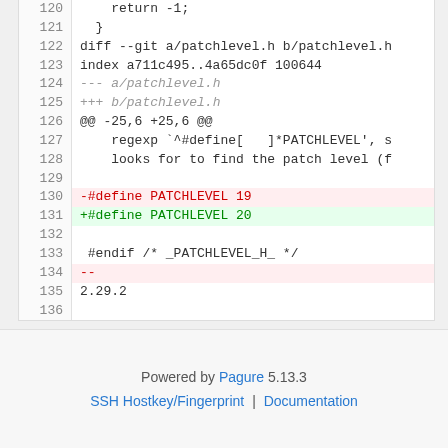[Figure (screenshot): Code diff viewer showing lines 120-136 of a git diff for patchlevel.h, with line 130 removed (red background: -#define PATCHLEVEL 19) and line 131 added (green background: +#define PATCHLEVEL 20)]
Powered by Pagure 5.13.3 | SSH Hostkey/Fingerprint | Documentation